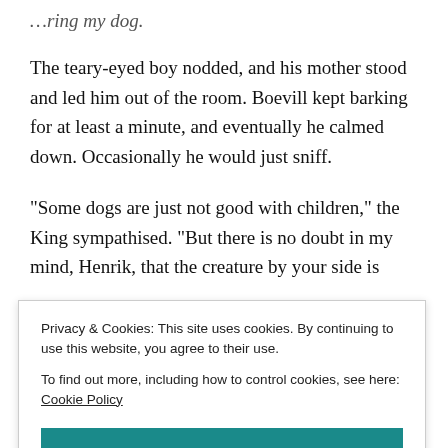…ring my dog.
The teary-eyed boy nodded, and his mother stood and led him out of the room. Boevill kept barking for at least a minute, and eventually he calmed down. Occasionally he would just sniff.
“Some dogs are just not good with children,” the King sympathised. “But there is no doubt in my mind, Henrik, that the creature by your side is
Privacy & Cookies: This site uses cookies. By continuing to use this website, you agree to their use.
To find out more, including how to control cookies, see here: Cookie Policy
Close and accept
[Figure (other): Partial book cover image showing the word 'Henrik' in white text on a blue background, partially visible at the bottom of the page.]